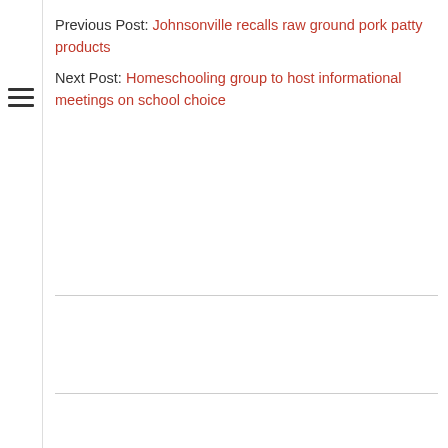Previous Post: Johnsonville recalls raw ground pork patty products
Next Post: Homeschooling group to host informational meetings on school choice